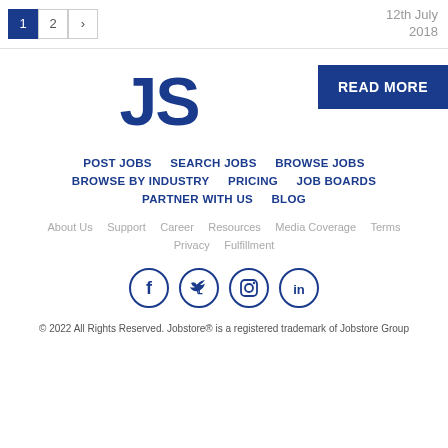1 2 >   12th July 2018
[Figure (logo): JS logo in dark blue bold text]
READ MORE
POST JOBS   SEARCH JOBS   BROWSE JOBS   BROWSE BY INDUSTRY   PRICING   JOB BOARDS   PARTNER WITH US   BLOG
About Us   Support   Career   Resources   Media Coverage   Terms   Privacy   Fulfillment
[Figure (illustration): Social media icons: Facebook, Twitter, Instagram, LinkedIn in dark blue circle outlines]
© 2022 All Rights Reserved. Jobstore® is a registered trademark of Jobstore Group